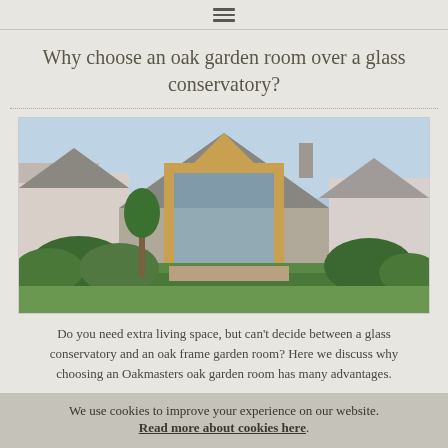≡ (hamburger menu icon)
Why choose an oak garden room over a glass conservatory?
[Figure (photo): Exterior photo of a house with a large oak-framed garden room addition featuring floor-to-ceiling glass panels under a pitched roof, surrounded by lush garden greenery.]
Do you need extra living space, but can't decide between a glass conservatory and an oak frame garden room? Here we discuss why choosing an Oakmasters oak garden room has many advantages.
We use cookies to improve your experience on our website. Read more about cookies here.